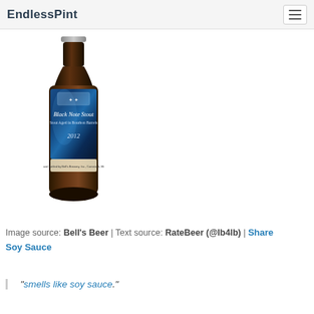EndlessPint
[Figure (photo): Black Note Stout beer bottle by Bell's Brewery, Stout Aged in Bourbon Barrels, 2012. Dark bottle with blue label.]
Image source: Bell's Beer | Text source: RateBeer (@lb4lb) | Share Soy Sauce
“smells like soy sauce.”